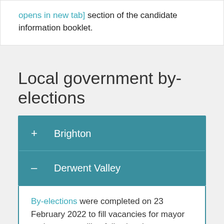[opens in new tab] section of the candidate information booklet.
Local government by-elections
+ Brighton
— Derwent Valley
By-elections were completed on 23 February 2022 to fill vacancies for mayor and one councillor, following the resignation of Mayor